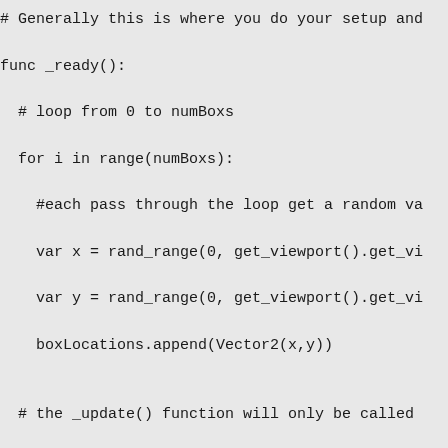# Generally this is where you do your setup and
func _ready():
  # loop from 0 to numBoxs
  for i in range(numBoxs):
    #each pass through the loop get a random va
    var x = rand_range(0, get_viewport().get_vi
    var y = rand_range(0, get_viewport().get_vi
    boxLocations.append(Vector2(x,y))

  # the _update() function will only be called
  set_process(true)

# _update is another function from Node.  Updat
# In this case _update() is actually useless an
func _update(dt):